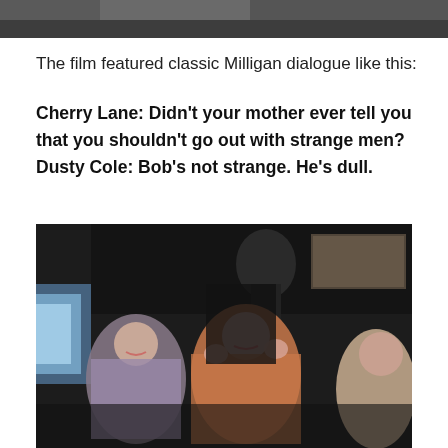[Figure (photo): Top portion of a black and white or grainy photo showing people, partially cropped at the top of the page]
The film featured classic Milligan dialogue like this:
Cherry Lane: Didn't your mother ever tell you that you shouldn't go out with strange men?
Dusty Cole: Bob's not strange. He's dull.
[Figure (photo): A vintage low-quality video still showing three women in colorful patterned outfits dancing or performing. On the left there is a blue/white light. In the background there appears to be a poster or image on the wall. The scene appears to be from a film or television show.]